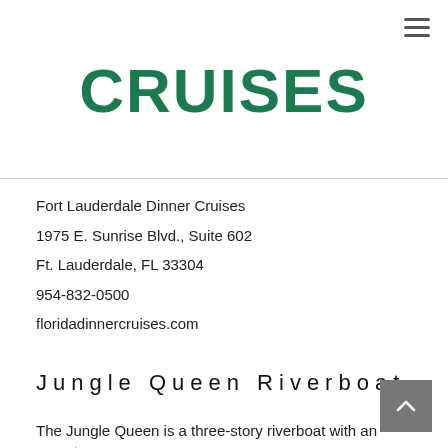[Figure (logo): CRUISES text logo in bold dark green uppercase letters]
Fort Lauderdale Dinner Cruises
1975 E. Sunrise Blvd., Suite 602
Ft. Lauderdale, FL 33304
954-832-0500
floridadinnercruises.com
Jungle Queen Riverboat
The Jungle Queen is a three-story riverboat with an open top